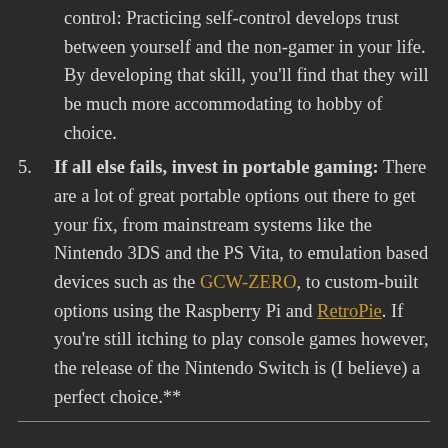control: Practicing self-control develops trust between yourself and the non-gamer in your life. By developing that skill, you'll find that they will be much more accommodating to hobby of choice.
5. If all else fails, invest in portable gaming: There are a lot of great portable options out there to get your fix, from mainstream systems like the Nintendo 3DS and the PS Vita, to emulation based devices such as the GCW-ZERO, to custom-built options using the Raspberry Pi and RetroPie. If you're still itching to play console games however, the release of the Nintendo Switch is (I believe) a perfect choice.**